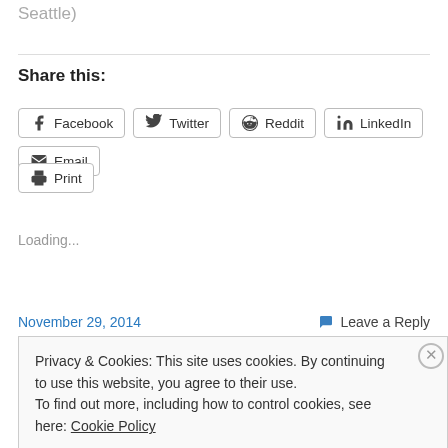Seattle)
Share this:
Facebook  Twitter  Reddit  LinkedIn  Email
Print
Loading...
November 29, 2014
Leave a Reply
Privacy & Cookies: This site uses cookies. By continuing to use this website, you agree to their use.
To find out more, including how to control cookies, see here: Cookie Policy
Close and accept